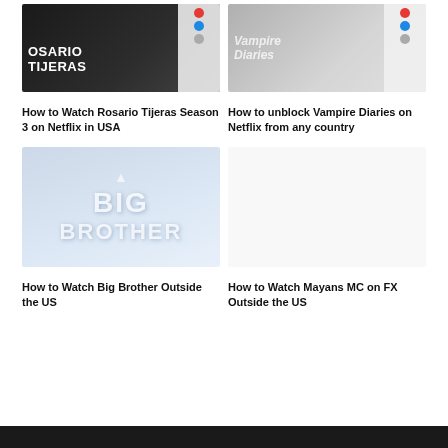[Figure (screenshot): Rosario Tijeras Season 3 Netflix thumbnail — dark background with show title text and UI overlay]
How to Watch Rosario Tijeras Season 3 on Netflix in USA
[Figure (screenshot): Vampire Diaries Netflix thumbnail — grayscale face with show title overlay and UI elements]
How to unblock Vampire Diaries on Netflix from any country
[Figure (screenshot): Big Brother logo on light blue background]
How to Watch Big Brother Outside the US
[Figure (screenshot): Blank/white placeholder thumbnail for Mayans MC]
How to Watch Mayans MC on FX Outside the US